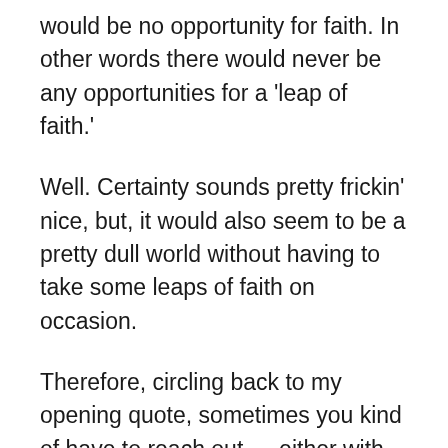would be no opportunity for faith. In other words there would never be any opportunities for a 'leap of faith.'
Well. Certainty sounds pretty frickin' nice, but, it would also seem to be a pretty dull world without having to take some leaps of faith on occasion.
Therefore, circling back to my opening quote, sometimes you kind of have to reach out … either with faith … or maybe out of sheer frustration … and grab one of the odd little waiters by the throat and